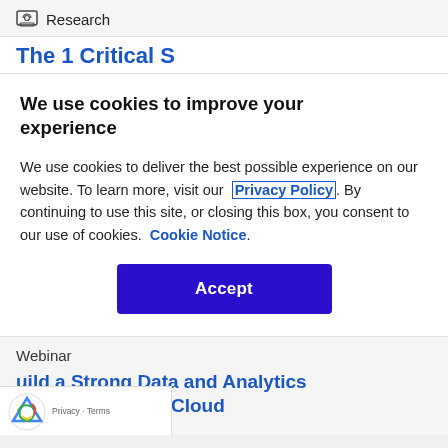Research
The 1 Critical S…
We use cookies to improve your experience
We use cookies to deliver the best possible experience on our website. To learn more, visit our Privacy Policy. By continuing to use this site, or closing this box, you consent to our use of cookies. Cookie Notice.
Accept
Webinar
Build a Strong Data and Analytics Foundation With Cloud